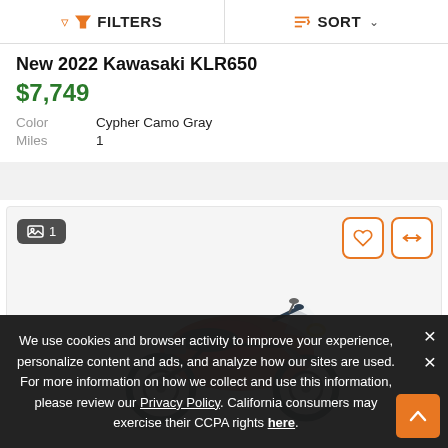FILTERS  |  SORT
New 2022 Kawasaki KLR650
$7,749
Color: Cypher Camo Gray
Miles: 1
[Figure (photo): Orange Kawasaki KLR650 motorcycle shown in side profile view, with image count badge showing 1 photo, and heart/compare action buttons in orange outline style.]
We use cookies and browser activity to improve your experience, personalize content and ads, and analyze how our sites are used. For more information on how we collect and use this information, please review our Privacy Policy. California consumers may exercise their CCPA rights here.